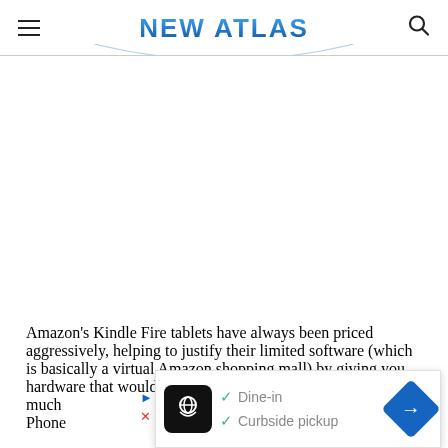NEW ATLAS
[Figure (other): Advertisement space (blank white area)]
Amazon's Kindle Fire tablets have always been priced aggressively, helping to justify their limited software (which is basically a virtual Amazon shopping mall) by giving you hardware that would normally sell for much more. Amazon's Fire Phone
[Figure (other): Ad overlay showing restaurant ad with Dine-in and Curbside pickup options, navigation arrow icon]